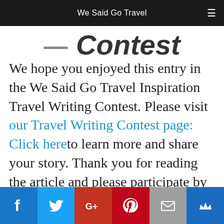We Said Go Travel
Contest
We hope you enjoyed this entry in the We Said Go Travel Inspiration Travel Writing Contest. Please visit our Travel Writing Contest page: Click here to learn more and share your story. Thank you for reading the article and please participate by leaving a comment below.
[Figure (infographic): Social media share bar with icons: Facebook, Twitter, Google+, Pinterest, Email, Crown/Bloglovin]